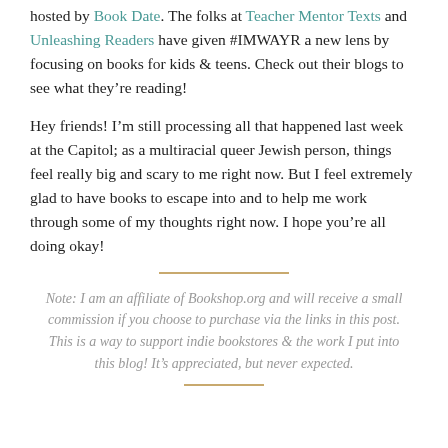hosted by Book Date. The folks at Teacher Mentor Texts and Unleashing Readers have given #IMWAYR a new lens by focusing on books for kids & teens. Check out their blogs to see what they're reading!
Hey friends! I'm still processing all that happened last week at the Capitol; as a multiracial queer Jewish person, things feel really big and scary to me right now. But I feel extremely glad to have books to escape into and to help me work through some of my thoughts right now. I hope you're all doing okay!
Note: I am an affiliate of Bookshop.org and will receive a small commission if you choose to purchase via the links in this post. This is a way to support indie bookstores & the work I put into this blog! It's appreciated, but never expected.